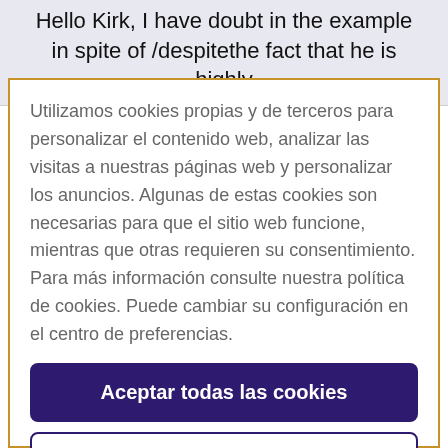Hello Kirk, I have doubt in the example  in spite of /despitethe fact that he is highly
Utilizamos cookies propias y de terceros para personalizar el contenido web, analizar las visitas a nuestras páginas web y personalizar los anuncios. Algunas de estas cookies son necesarias para que el sitio web funcione, mientras que otras requieren su consentimiento. Para más información consulte nuestra política de cookies. Puede cambiar su configuración en el centro de preferencias.
Aceptar todas las cookies
Configuración de cookies